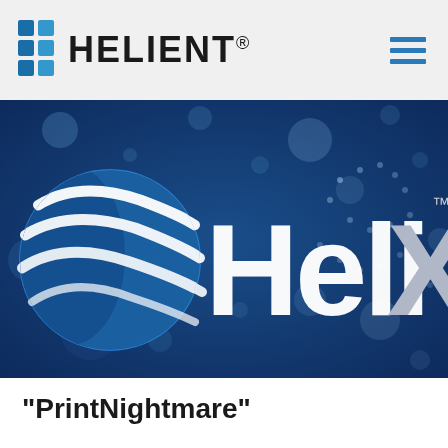[Figure (logo): Helient logo with blue grid icon and HELIENT® wordmark in black, plus hamburger menu icon in blue on the right]
[Figure (illustration): Dark blue background with bokeh light dots and HeliX logo: a blue globe with white wave stripes on the left, and large white 'HeliX' text with silver X and TM mark]
“PrintNightmare”